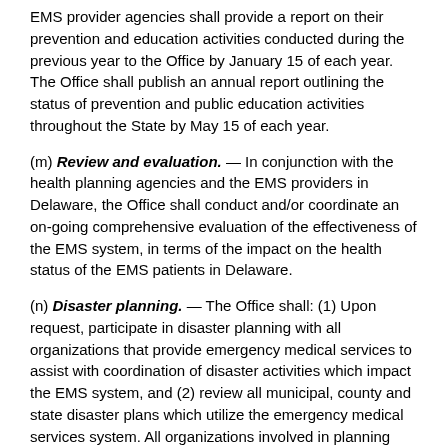EMS provider agencies shall provide a report on their prevention and education activities conducted during the previous year to the Office by January 15 of each year. The Office shall publish an annual report outlining the status of prevention and public education activities throughout the State by May 15 of each year.
(m) Review and evaluation. — In conjunction with the health planning agencies and the EMS providers in Delaware, the Office shall conduct and/or coordinate an on-going comprehensive evaluation of the effectiveness of the EMS system, in terms of the impact on the health status of the EMS patients in Delaware.
(n) Disaster planning. — The Office shall: (1) Upon request, participate in disaster planning with all organizations that provide emergency medical services to assist with coordination of disaster activities which impact the EMS system, and (2) review all municipal, county and state disaster plans which utilize the emergency medical services system. All organizations involved in planning disaster exercises which impact the EMS system should advise the Office of scheduled disaster exercises. In addition, the Office shall, upon request, participate in disaster exercises for the purpose of evaluation and improvement of the emergency medical services system and make recommendations as needed to the appropriate provider for the refinement of their disaster plans. All disaster planning activities of the Office shall be coordinated with the